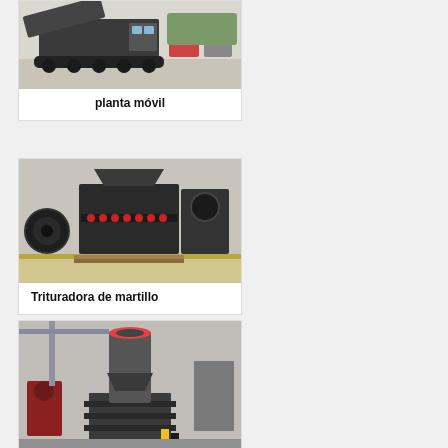[Figure (photo): Mobile crushing plant on tracked vehicle outdoors with cars parked in background]
planta móvil
[Figure (photo): Hammer crusher industrial machine with red and black components on factory floor]
Trituradora de martillo
[Figure (photo): Vertical shaft industrial machine/crusher in factory setting with yellow safety markings]